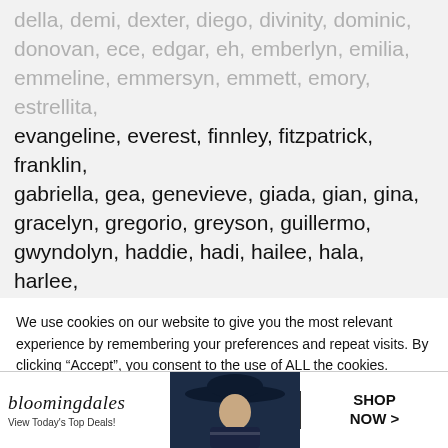della, demi, dexter, diego, divinity, dominic, donovan, ece, edgar, eh, emberlyn, emilia, emmeline, emmersyn, emmett, emory, estrellita, evangeline, everest, finnley, fitzpatrick, franklin, gabriella, gea, genevieve, giada, gian, gina, gracelyn, gregorio, greyson, guillermo, gwyndolyn, haddie, hadi, hailee, hala, harlee, harmony, hawthorne, hayes, hayley, hc, holden, houston, ila, isaias, ivylynn, jacob, janae, jaxston, jaxtyn, jayla, jaylen, jensen, jeremy, jerry, jesse,
We use cookies on our website to give you the most relevant experience by remembering your preferences and repeat visits. By clicking “Accept”, you consent to the use of ALL the cookies.
Do not sell my personal information.
[Figure (screenshot): Bloomingdale's advertisement banner with woman in wide-brim hat, logo, tagline 'View Today's Top Deals!', and 'SHOP NOW >' button. CLOSE button visible above.]